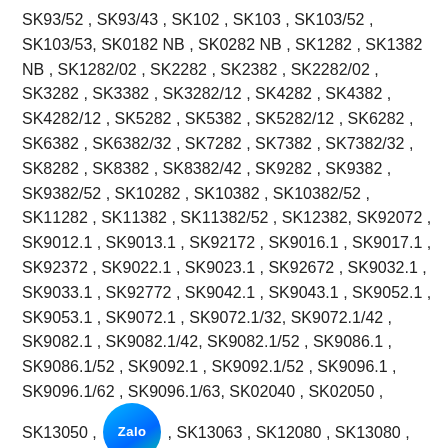SK93/52 , SK93/43 , SK102 , SK103 , SK103/52 , SK103/53, SK0182 NB , SK0282 NB , SK1282 , SK1382 NB , SK1282/02 , SK2282 , SK2382 , SK2282/02 , SK3282 , SK3382 , SK3282/12 , SK4282 , SK4382 , SK4282/12 , SK5282 , SK5382 , SK5282/12 , SK6282 , SK6382 , SK6382/32 , SK7282 , SK7382 , SK7382/32 , SK8282 , SK8382 , SK8382/42 , SK9282 , SK9382 , SK9382/52 , SK10282 , SK10382 , SK10382/52 , SK11282 , SK11382 , SK11382/52 , SK12382, SK92072 , SK9012.1 , SK9013.1 , SK92172 , SK9016.1 , SK9017.1 , SK92372 , SK9022.1 , SK9023.1 , SK92672 , SK9032.1 , SK9033.1 , SK92772 , SK9042.1 , SK9043.1 , SK9052.1 , SK9053.1 , SK9072.1 , SK9072.1/32, SK9072.1/42 , SK9082.1 , SK9082.1/42, SK9082.1/52 , SK9086.1 , SK9086.1/52 , SK9092.1 , SK9092.1/52 , SK9096.1 , SK9096.1/62 , SK9096.1/63, SK02040 , SK02050 , SK13050 , SK[Zalo] , SK13063 , SK12080 , SK13080 , SK32100 , SK[Zalo] , SK42125 , SK43125, SK11 E(F) – 90 S/4, SK12 (F) – 90 S/4, SK12/02 (F) – 63 S/4, SK1282 A – 90 l/4, SK1382 AB – 90 l/4, SK1382 AE – 90 l/4, SK1382...